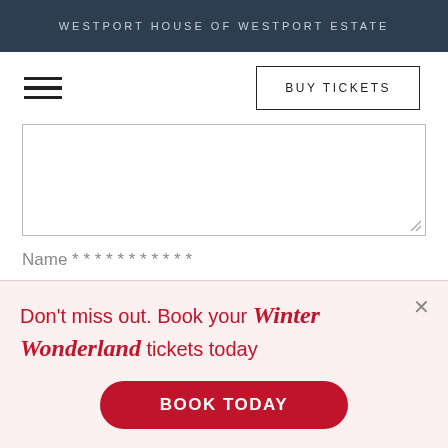WESTPORT HOUSE OF WESTPORT ESTATE
[Figure (screenshot): Navigation bar with hamburger menu icon on left and BUY TICKETS button on right]
[Figure (screenshot): Form textarea input field with resize handle]
Name * * * * * * * * * * *
[Figure (infographic): Promotional overlay banner with light pink background. Text: Don't miss out. Book your Winter Wonderland tickets today. With BOOK TODAY red button.]